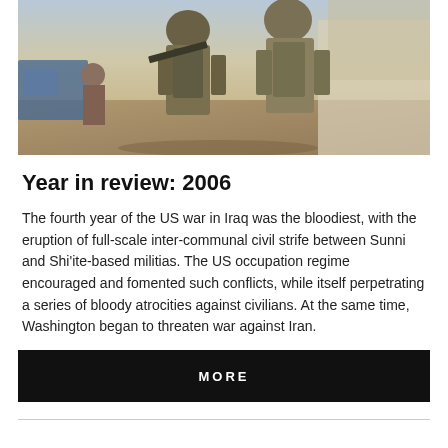[Figure (photo): Soldiers in military camouflage uniforms and gear in an outdoor urban/desert setting, one assisting another, photographed from a low angle with bright sky and concrete wall in background.]
Year in review: 2006
The fourth year of the US war in Iraq was the bloodiest, with the eruption of full-scale inter-communal civil strife between Sunni and Shi'ite-based militias. The US occupation regime encouraged and fomented such conflicts, while itself perpetrating a series of bloody atrocities against civilians. At the same time, Washington began to threaten war against Iran.
MORE